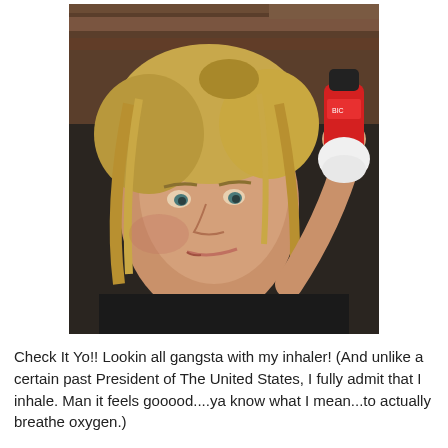[Figure (photo): Woman with blonde hair holding up a red inhaler with a white spacer attachment, making a humorous expression, selfie-style photo with wooden wall background]
Check It Yo!! Lookin all gangsta with my inhaler! (And unlike a certain past President of The United States, I fully admit that I inhale. Man it feels gooood....ya know what I mean...to actually breathe oxygen.)
Any-hoo!!! I love "year end wrap ups" and if you have kept